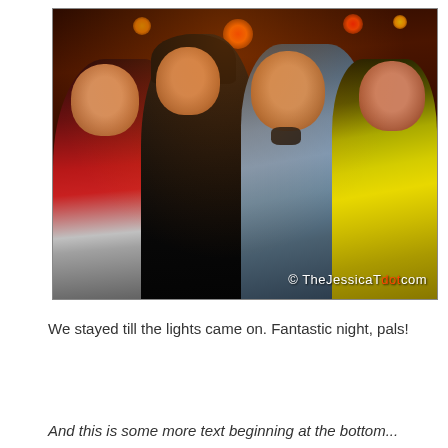[Figure (photo): Group photo of four people posing together at night outdoors. From left: a young man in a red polo shirt, a woman in a black top with a necklace, a middle-aged man in a light blue shirt with sunglasses hanging from collar, and a woman in a yellow sleeveless top. Warm background lighting with lanterns. Watermark reads '© TheJessicaTdot.com'.]
We stayed till the lights came on. Fantastic night, pals!
And this is some more text beginning at the bottom...